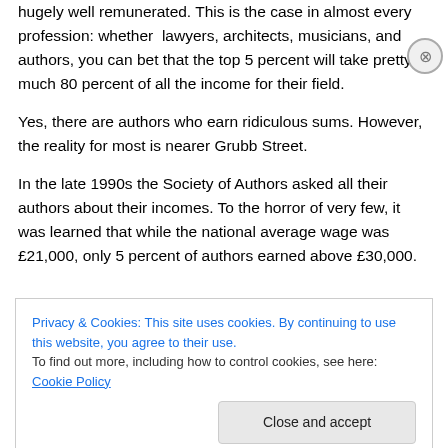hugely well remunerated. This is the case in almost every profession: whether lawyers, architects, musicians, and authors, you can bet that the top 5 percent will take pretty much 80 percent of all the income for their field.
Yes, there are authors who earn ridiculous sums. However, the reality for most is nearer Grubb Street.
In the late 1990s the Society of Authors asked all their authors about their incomes. To the horror of very few, it was learned that while the national average wage was £21,000, only 5 percent of authors earned above £30,000.
Privacy & Cookies: This site uses cookies. By continuing to use this website, you agree to their use. To find out more, including how to control cookies, see here: Cookie Policy